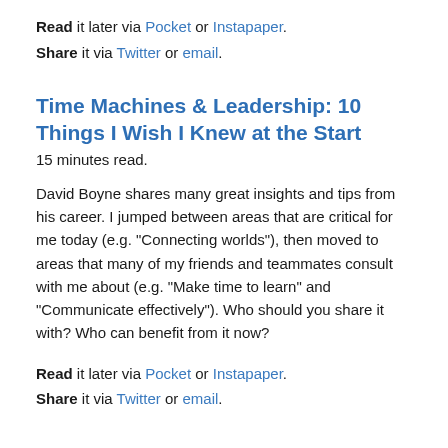Read it later via Pocket or Instapaper.
Share it via Twitter or email.
Time Machines & Leadership: 10 Things I Wish I Knew at the Start
15 minutes read.
David Boyne shares many great insights and tips from his career. I jumped between areas that are critical for me today (e.g. "Connecting worlds"), then moved to areas that many of my friends and teammates consult with me about (e.g. "Make time to learn" and "Communicate effectively"). Who should you share it with? Who can benefit from it now?
Read it later via Pocket or Instapaper.
Share it via Twitter or email.